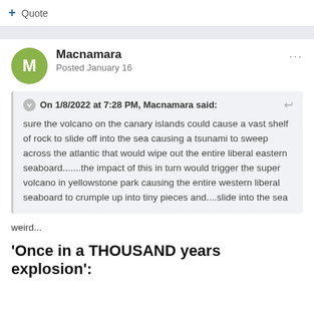+ Quote
Macnamara
Posted January 16
On 1/8/2022 at 7:28 PM, Macnamara said:

sure the volcano on the canary islands could cause a vast shelf of rock to slide off into the sea causing a tsunami to sweep across the atlantic that would wipe out the entire liberal eastern seaboard.......the impact of this in turn would trigger the super volcano in yellowstone park causing the entire western liberal seaboard to crumple up into tiny pieces and....slide into the sea
weird...
'Once in a THOUSAND years explosion':